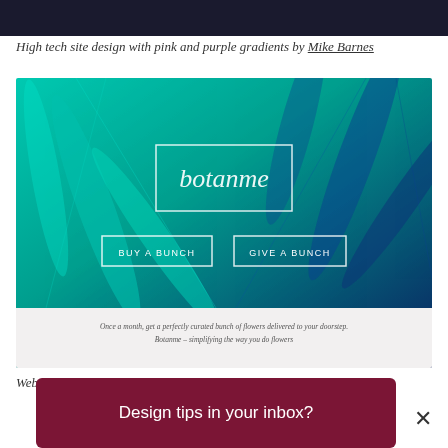[Figure (screenshot): Dark top strip from a previous website screenshot]
High tech site design with pink and purple gradients by Mike Barnes
[Figure (screenshot): Botanme flower delivery website screenshot showing teal/blue tropical leaf background with 'botanme' logo in white outlined box, two CTA buttons: 'BUY A BUNCH' and 'GIVE A BUNCH', and a light gray footer bar with text 'Once a month, get a perfectly curated bunch of flowers delivered to your doorstep. Botanme – simplifying the way you do flowers']
Web design for floral delivery service with vibrant blue and green
Design tips in your inbox?